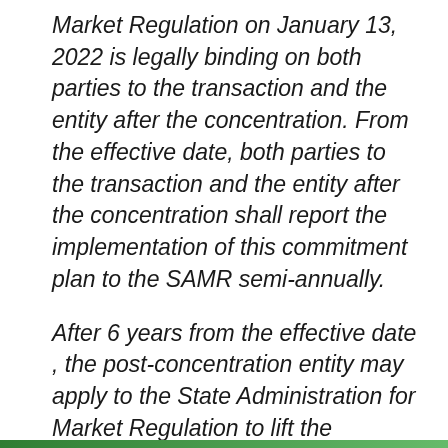Market Regulation on January 13, 2022 is legally binding on both parties to the transaction and the entity after the concentration. From the effective date, both parties to the transaction and the entity after the concentration shall report the implementation of this commitment plan to the SAMR semi-annually.
After 6 years from the effective date , the post-concentration entity may apply to the State Administration for Market Regulation to lift the conduct conditions. The State Administration for Market Regulation will make a decision on whether to cancel the application based on the application and market